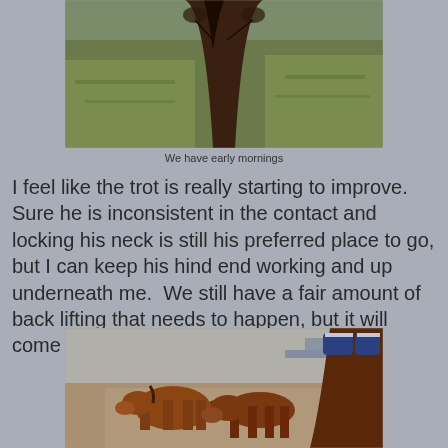[Figure (photo): View from horseback looking over the horse's neck and mane toward a green grassy field in early morning light]
We have early mornings
I feel like the trot is really starting to improve.  Sure he is inconsistent in the contact and locking his neck is still his preferred place to go, but I can keep his hind end working and up underneath me.  We still have a fair amount of back lifting that needs to happen, but it will come with time.
[Figure (photo): View from horseback looking over the horse's brown neck with blue ear covers, toward two small brown horses/ponies standing on a dirt path]